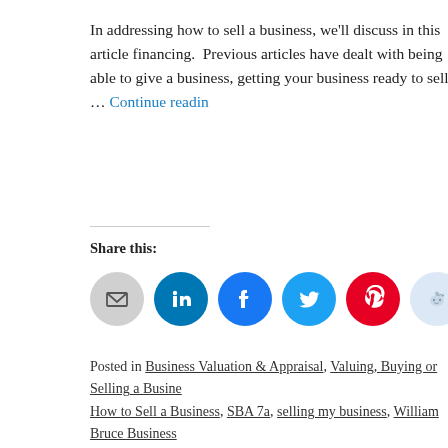In addressing how to sell a business, we'll discuss in this article financing.  Previous articles have dealt with being able to give a business, getting your business ready to sell, … Continue reading
Share this:
[Figure (other): Social share buttons: email, LinkedIn, Facebook, Twitter, Pinterest, Reddit, print]
Posted in Business Valuation & Appraisal, Valuing, Buying or Selling a Business, How to Sell a Business, SBA 7a, selling my business, William Bruce Business